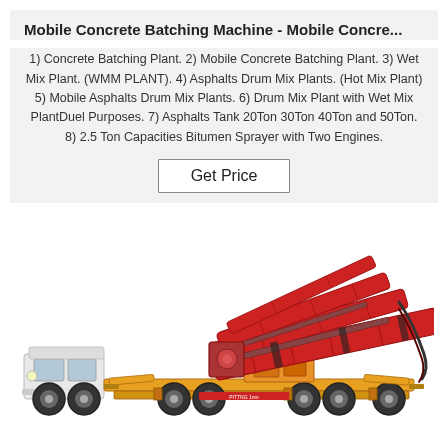Mobile Concrete Batching Machine - Mobile Concre...
1) Concrete Batching Plant. 2) Mobile Concrete Batching Plant. 3) Wet Mix Plant. (WMM PLANT). 4) Asphalts Drum Mix Plants. (Hot Mix Plant) 5) Mobile Asphalts Drum Mix Plants. 6) Drum Mix Plant with Wet Mix PlantDuel Purposes. 7) Asphalts Tank 20Ton 30Ton 40Ton and 50Ton. 8) 2.5 Ton Capacities Bitumen Sprayer with Two Engines.
Get Price
[Figure (photo): A red and yellow mobile concrete pump truck with extended boom/arm assembly, mounted on a white vehicle chassis.]